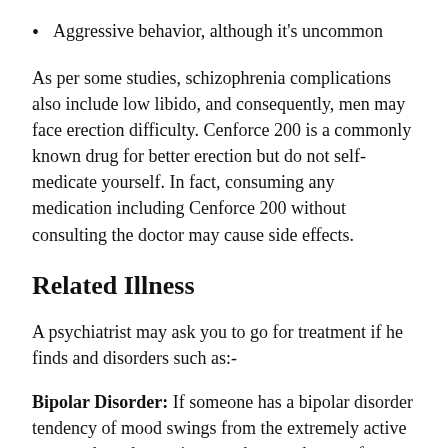Aggressive behavior, although it’s uncommon
As per some studies, schizophrenia complications also include low libido, and consequently, men may face erection difficulty. Cenforce 200 is a commonly known drug for better erection but do not self-medicate yourself. In fact, consuming any medication including Cenforce 200 without consulting the doctor may cause side effects.
Related Illness
A psychiatrist may ask you to go for treatment if he finds and disorders such as:-
Bipolar Disorder: If someone has a bipolar disorder tendency of mood swings from the extremely active state to deep depression may have a chance of developing schizophrenia disorder. Some people